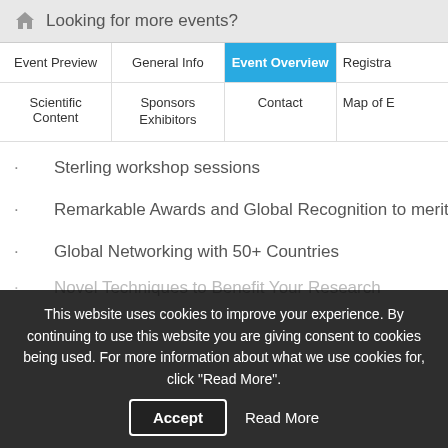Looking for more events?
Event Preview | General Info | Event Overview | Registra
Scientific Content | Sponsors Exhibitors | Contact | Map of E
Sterling workshop sessions
Remarkable Awards and Global Recognition to meritorious Re
Global Networking with 50+ Countries
Novel Techniques to Benefit Your Research
This website uses cookies to improve your experience. By continuing to use this website you are giving consent to cookies being used. For more information about what we use cookies for, click "Read More".
Accept   Read More